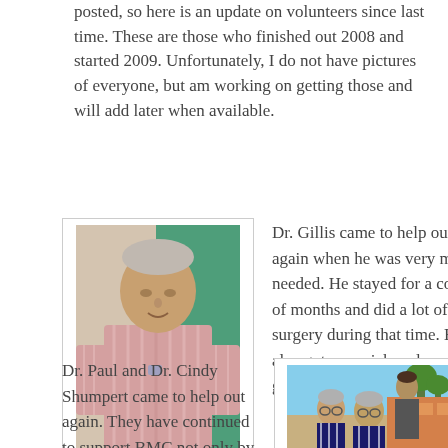posted, so here is an update on volunteers since last time. These are those who finished out 2008 and started 2009. Unfortunately, I do not have pictures of everyone, but am working on getting those and will add later when available.
[Figure (photo): Photo of Dr. Sam Gillis, an older man in a pink/white striped shirt standing in front of a teal curtain]
Dr. Sam Gillis
Dr. Gillis came to help out again when he was very much needed. He stayed for a couple of months and did a lot of surgery during that time. He also got very sick and we are glad that he survived his stay.
Dr. Paul and Dr. Cindy Shumpert came to help out again. They have continued to support BMC not only by coming to volunteer, but by
[Figure (photo): Photo of Dr. Paul and Dr. Cindy Shumpert outdoors with a third person, trees and a colorful building in the background]